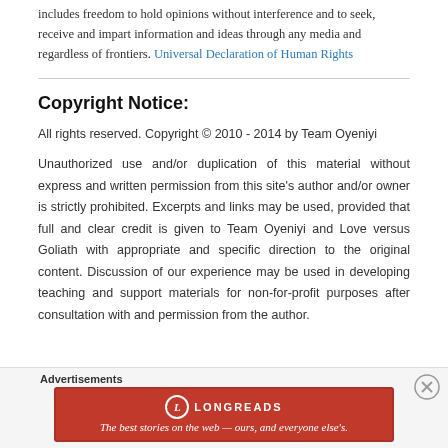includes freedom to hold opinions without interference and to seek, receive and impart information and ideas through any media and regardless of frontiers. Universal Declaration of Human Rights
Copyright Notice:
All rights reserved. Copyright © 2010 - 2014 by Team Oyeniyi
Unauthorized use and/or duplication of this material without express and written permission from this site's author and/or owner is strictly prohibited. Excerpts and links may be used, provided that full and clear credit is given to Team Oyeniyi and Love versus Goliath with appropriate and specific direction to the original content. Discussion of our experience may be used in developing teaching and support materials for non-for-profit purposes after consultation with and permission from the author.
Advertisements
[Figure (other): Longreads advertisement banner: red background with Longreads logo and tagline 'The best stories on the web — ours, and everyone else's.']